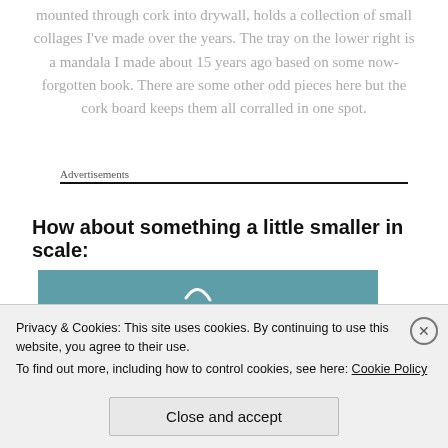mounted through cork into drywall, holds a collection of small collages I've made over the years. The tray on the lower right is a mandala I made about 15 years ago based on some now-forgotten book. There are some other odd pieces here but the cork board keeps them all corralled in one spot.
Advertisements
How about something a little smaller in scale:
[Figure (photo): Partial photo of an object on a teal/blue background with white wire or string visible]
Privacy & Cookies: This site uses cookies. By continuing to use this website, you agree to their use.
To find out more, including how to control cookies, see here: Cookie Policy
Close and accept